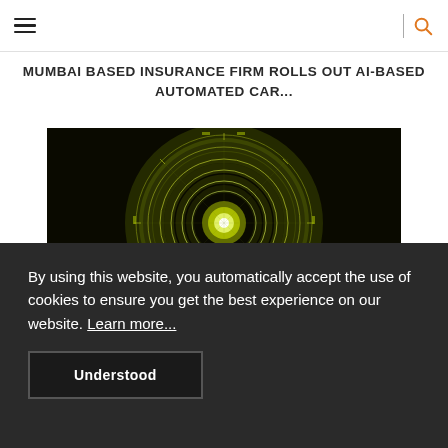Navigation bar with hamburger menu and search icon
MUMBAI BASED INSURANCE FIRM ROLLS OUT AI-BASED AUTOMATED CAR...
[Figure (photo): Circular tech/AI themed image with glowing yellow-green circuit patterns on a dark background, resembling a futuristic AI or digital interface disc]
By using this website, you automatically accept the use of cookies to ensure you get the best experience on our website. Learn more...
Understood